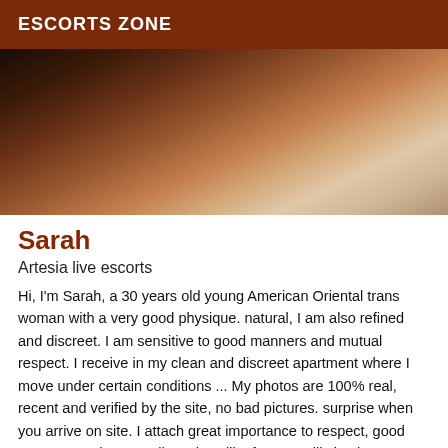ESCORTS ZONE
[Figure (photo): Close-up photo of a person lying down, skin visible, on light-colored bedding. The image is cropped showing upper body/shoulder area.]
Sarah
Artesia live escorts
Hi, I'm Sarah, a 30 years old young American Oriental trans woman with a very good physique. natural, I am also refined and discreet. I am sensitive to good manners and mutual respect. I receive in my clean and discreet apartment where I move under certain conditions ... My photos are 100% real, recent and verified by the site, no bad pictures. surprise when you arrive on site. I attach great importance to respect, good manners and punctuality, I don't like funny. I will simply